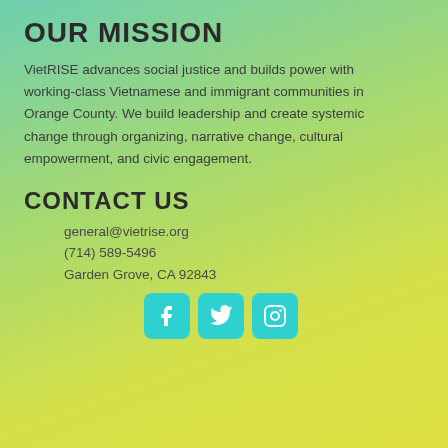OUR MISSION
VietRISE advances social justice and builds power with working-class Vietnamese and immigrant communities in Orange County. We build leadership and create systemic change through organizing, narrative change, cultural empowerment, and civic engagement.
CONTACT US
general@vietrise.org
(714) 589-5496
Garden Grove, CA 92843
[Figure (infographic): Three social media icon buttons (Facebook, Twitter, Instagram) in teal/cyan rounded squares]